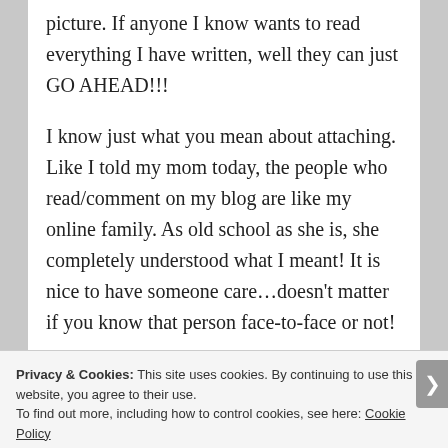picture. If anyone I know wants to read everything I have written, well they can just GO AHEAD!!!
I know just what you mean about attaching. Like I told my mom today, the people who read/comment on my blog are like my online family. As old school as she is, she completely understood what I meant! It is nice to have someone care…doesn't matter if you know that person face-to-face or not!
Privacy & Cookies: This site uses cookies. By continuing to use this website, you agree to their use. To find out more, including how to control cookies, see here: Cookie Policy
Close and accept